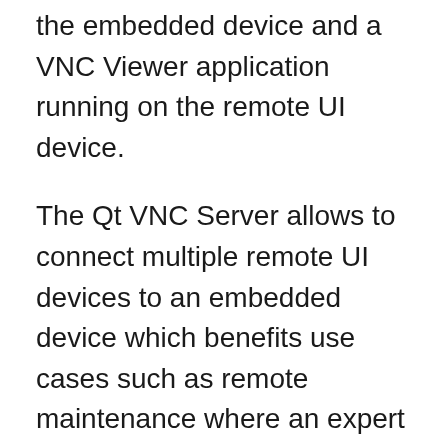the embedded device and a VNC Viewer application running on the remote UI device.
The Qt VNC Server allows to connect multiple remote UI devices to an embedded device which benefits use cases such as remote maintenance where an expert can see simultaneously with the user what is happening. The Qt VNC Server can be easily used for hybrid applications where both the embedded device as well a remote UI device can monitor and control the device. The Qt VNC Server supports password protection, a very much required feature for any real-world application. While Qt offers no out-of-the-box VNC Viewers applications, a variety of open-